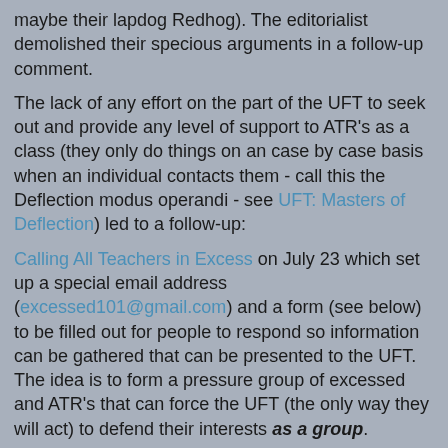maybe their lapdog Redhog). The editorialist demolished their specious arguments in a follow-up comment.
The lack of any effort on the part of the UFT to seek out and provide any level of support to ATR's as a class (they only do things on an case by case basis when an individual contacts them - call this the Deflection modus operandi - see UFT: Masters of Deflection) led to a follow-up:
Calling All Teachers in Excess on July 23 which set up a special email address (excessed101@gmail.com) and a form (see below) to be filled out for people to respond so information can be gathered that can be presented to the UFT. The idea is to form a pressure group of excessed and ATR's that can force the UFT (the only way they will act) to defend their interests as a group.
[Figure (illustration): Black and white historical engraving depicting a harbor scene with ships and figures, reminiscent of the Boston Tea Party.]
A UFT Tea Party?
This came in the other day:
NO TAXATION WITHOUT REPRESENTATION !
It has only been their single goal to...ATRs and the position...